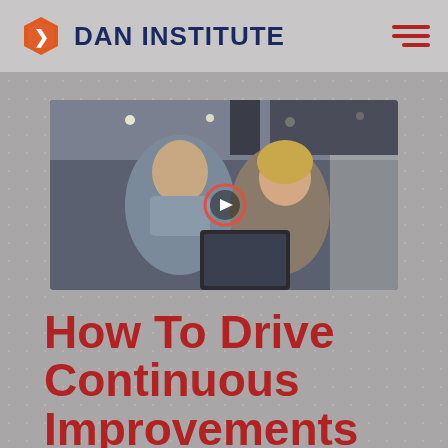DAN INSTITUTE
[Figure (photo): Two professionals, a man and a woman, looking at a tablet together in a modern office setting with ceiling lights. A video play button circle is overlaid in the center of the image.]
How To Drive Continuous Improvements